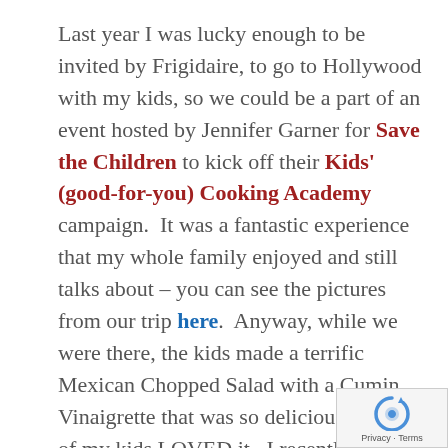Last year I was lucky enough to be invited by Frigidaire, to go to Hollywood with my kids, so we could be a part of an event hosted by Jennifer Garner for Save the Children to kick off their Kids' (good-for-you) Cooking Academy campaign.  It was a fantastic experience that my whole family enjoyed and still talks about – you can see the pictures from our trip here.  Anyway, while we were there, the kids made a terrific Mexican Chopped Salad with a Cumin Vinaigrette that was so delicious – both of my kids LOVED it.  I recently came across the recipe we were given by Chef Mary Sue Millikan and decided to make it again for dinner.  I adapted it a bit to use what I had on hand and it turned out delicious!  If you like cumin this vinaigrette will make you very happy.  I really loved this salad and vinaigrette combination... it was so good!  I served